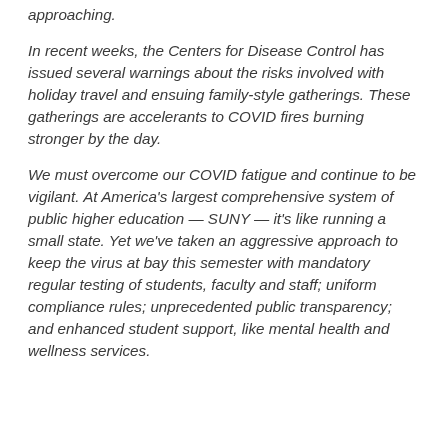approaching.
In recent weeks, the Centers for Disease Control has issued several warnings about the risks involved with holiday travel and ensuing family-style gatherings. These gatherings are accelerants to COVID fires burning stronger by the day.
We must overcome our COVID fatigue and continue to be vigilant. At America's largest comprehensive system of public higher education — SUNY — it's like running a small state. Yet we've taken an aggressive approach to keep the virus at bay this semester with mandatory regular testing of students, faculty and staff; uniform compliance rules; unprecedented public transparency; and enhanced student support, like mental health and wellness services.